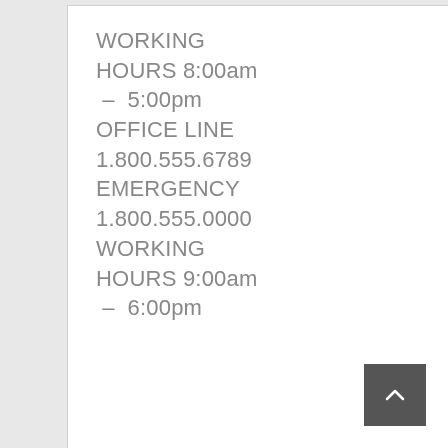WORKING HOURS 8:00am – 5:00pm OFFICE LINE 1.800.555.6789 EMERGENCY 1.800.555.0000 WORKING HOURS 9:00am – 6:00pm
[Figure (other): Back to top button: dark grey square with white chevron arrow pointing up]